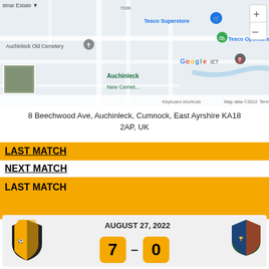[Figure (map): Google Maps screenshot showing Auchinleck area with Tesco Superstore, Tesco Opticians, Auchinleck Old Cemetery, and New Cemetery markers visible. Includes zoom controls and Google branding.]
8 Beechwood Ave, Auchinleck, Cumnock, East Ayrshire KA18 2AP, UK
LAST MATCH
NEXT MATCH
LAST MATCH
[Figure (other): Match result card showing home team crest vs away team crest, date August 27, 2022, score 7-0]
AUGUST 27, 2022
7 – 0